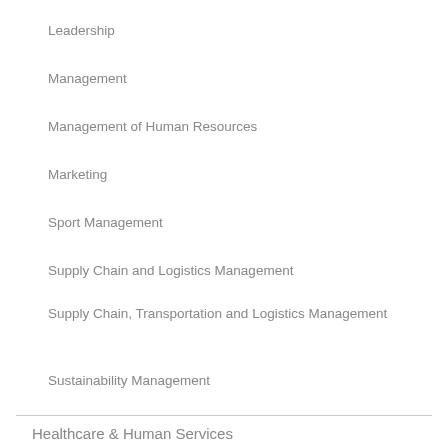Leadership
Management
Management of Human Resources
Marketing
Sport Management
Supply Chain and Logistics Management
Supply Chain, Transportation and Logistics Management
Sustainability Management
Healthcare & Human Services